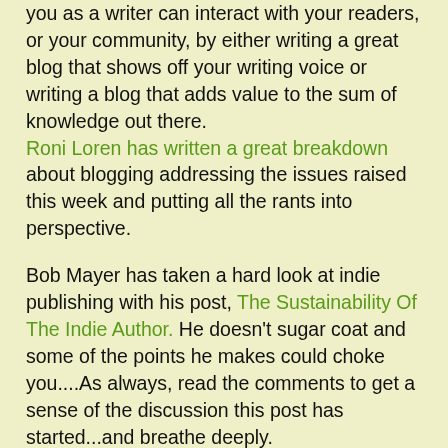you as a writer can interact with your readers, or your community, by either writing a great blog that shows off your writing voice or writing a blog that adds value to the sum of knowledge out there. Roni Loren has written a great breakdown about blogging addressing the issues raised this week and putting all the rants into perspective.
Bob Mayer has taken a hard look at indie publishing with his post, The Sustainability Of The Indie Author. He doesn't sugar coat and some of the points he makes could choke you....As always, read the comments to get a sense of the discussion this post has started...and breathe deeply.
Mike Shatzkin has been looking at the other side of this with his interesting post on whether traditional publishers can maintain their primacy as eBookpublishers.... Magazines and other media are beginning to publish their own eBooks...but will they stop there?
This week Jane Friedman posted two excellent interviews on her blog. The first was with Scott Sigler and looked at